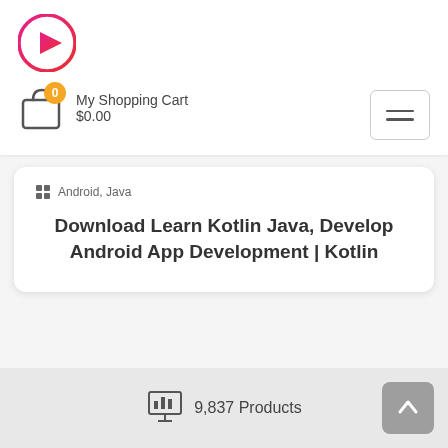[Figure (logo): Circular logo with pink/red gradient border and white play button triangle icon in center]
[Figure (infographic): Shopping cart icon with orange badge showing 0]
My Shopping Cart
$0.00
[Figure (infographic): Hamburger menu button with three horizontal lines]
Android, Java
Download Learn Kotlin Java, Develop Android App Development | Kotlin
9,837 Products